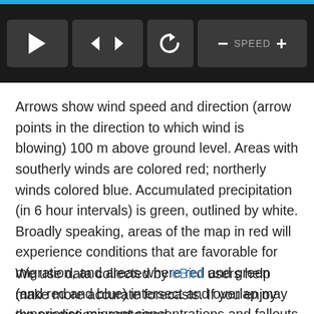[Figure (screenshot): Video player controls bar with dark background. Contains: play button (triangle), back/forward arrow buttons, reset/replay button, and speed control with minus, SPEED label, and plus buttons.]
Arrows show wind speed and direction (arrow points in the direction to which wind is blowing) 100 m above ground level. Areas with southerly winds are colored red; northerly winds colored blue. Accumulated precipitation (in 6 hour intervals) is green, outlined by white. Broadly speaking, areas of the map in red will experience conditions that are favorable for migration, and areas where red and green (and red and blue) intersect and overlap may experience migrant concentrations and fallouts as migrants interact with precipitation.
We use data collected by eBird users help make more accurate forecasts. If you enjoy the predictions contained